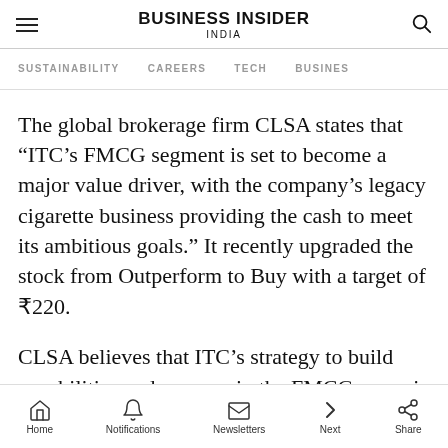BUSINESS INSIDER INDIA
SUSTAINABILITY  CAREERS  TECH  BUSINESS
The global brokerage firm CLSA states that “ITC’s FMCG segment is set to become a major value driver, with the company’s legacy cigarette business providing the cash to meet its ambitious goals.” It recently upgraded the stock from Outperform to Buy with a target of ₹220.
CLSA believes that ITC’s strategy to build capabilities and revenue in the FMCG space is a move in the right direction and puts their FMCG
Home  Notifications  Newsletters  Next  Share